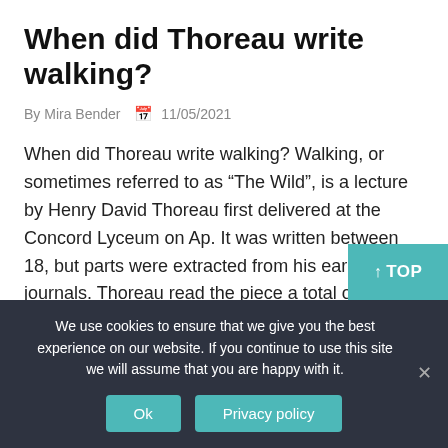When did Thoreau write walking?
By Mira Bender  11/05/2021
When did Thoreau write walking? Walking, or sometimes referred to as “The Wild”, is a lecture by Henry David Thoreau first delivered at the Concord Lyceum on Ap. It was written between 18, but parts were extracted from his earlier journals. Thoreau read the piece a total of ten times, more than any other of …
↑ TOP
We use cookies to ensure that we give you the best experience on our website. If you continue to use this site we will assume that you are happy with it.
Ok  Privacy policy